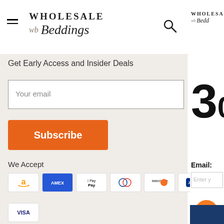Wholesale Beddings
Get Early Access and Insider Deals
Your email
Subscribe
We Accept
[Figure (screenshot): Payment method icons: Amazon, American Express, Apple Pay, Diners Club, Discover, JCB, Mastercard, Visa]
Email:
Enter y...